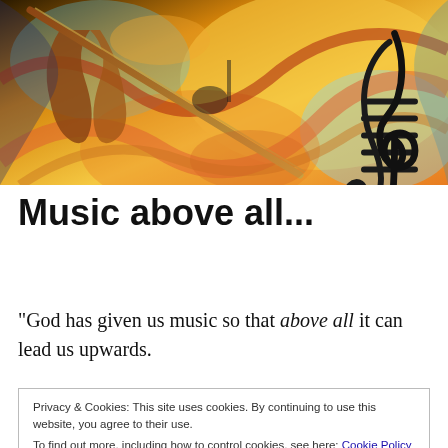[Figure (illustration): Abstract colorful painting featuring a violin, musical notes, and a treble clef rendered in swirling oranges, yellows, blues, and reds.]
Music above all...
“God has given us music so that above all it can lead us upwards.
Privacy & Cookies: This site uses cookies. By continuing to use this website, you agree to their use.
To find out more, including how to control cookies, see here: Cookie Policy
Close and accept
melancholy tones.